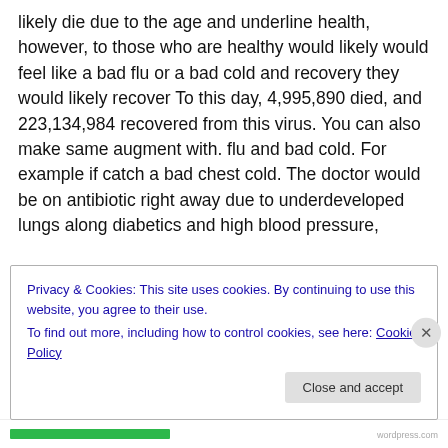likely die due to the age and underline health, however, to those who are healthy would likely would feel like a bad flu or a bad cold and recovery they would likely recover To this day, 4,995,890 died, and 223,134,984 recovered from this virus. You can also make same augment with. flu and bad cold. For example if catch a bad chest cold. The doctor would be on antibiotic right away due to underdeveloped lungs along diabetics and high blood pressure,
Some Governments began taking realize that small
Privacy & Cookies: This site uses cookies. By continuing to use this website, you agree to their use.
To find out more, including how to control cookies, see here: Cookie Policy